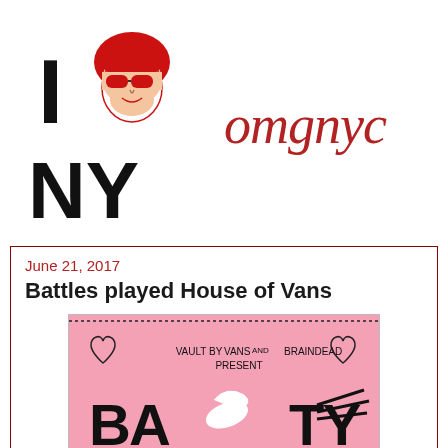[Figure (logo): I [face with sunglasses] NY logo in black and red, parody of the I Love NY logo]
omgnyc
June 21, 2017
Battles played House of Vans
[Figure (illustration): Pink event poster for Vault by Vans and Braindead Present — Battles, with hand-drawn lettering on pink background]